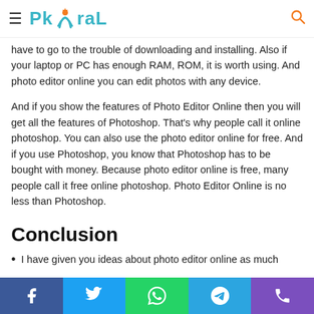PkViral
have to go to the trouble of downloading and installing. Also if your laptop or PC has enough RAM, ROM, it is worth using. And photo editor online you can edit photos with any device.
And if you show the features of Photo Editor Online then you will get all the features of Photoshop. That's why people call it online photoshop. You can also use the photo editor online for free. And if you use Photoshop, you know that Photoshop has to be bought with money. Because photo editor online is free, many people call it free online photoshop. Photo Editor Online is no less than Photoshop.
Conclusion
I have given you ideas about photo editor online as much